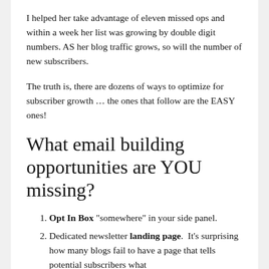I helped her take advantage of eleven missed ops and within a week her list was growing by double digit numbers. AS her blog traffic grows, so will the number of new subscribers.
The truth is, there are dozens of ways to optimize for subscriber growth … the ones that follow are the EASY ones!
What email building opportunities are YOU missing?
Opt In Box "somewhere" in your side panel.
Dedicated newsletter landing page.  It's surprising how many blogs fail to have a page that tells potential subscribers what